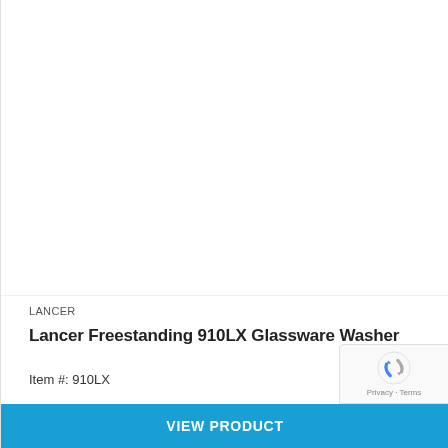[Figure (photo): Product image area — white/blank space where Lancer 910LX Glassware Washer photo would appear]
LANCER
Lancer Freestanding 910LX Glassware Washer
Item #: 910LX
VIEW PRODUCT